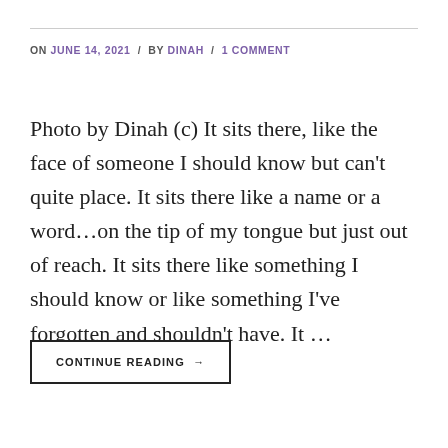ON JUNE 14, 2021 / BY DINAH / 1 COMMENT
Photo by Dinah (c) It sits there, like the face of someone I should know but can't quite place. It sits there like a name or a word…on the tip of my tongue but just out of reach. It sits there like something I should know or like something I've forgotten and shouldn't have. It …
CONTINUE READING →